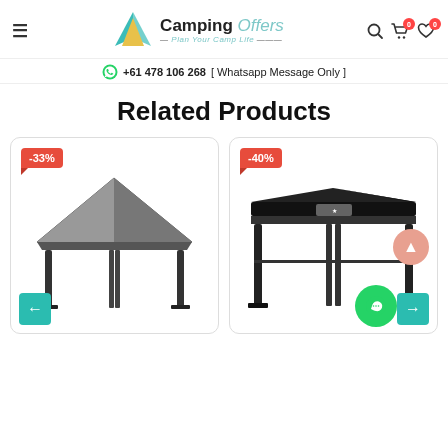Camping Offers — Plan Your Camp Life
+61 478 106 268 [ Whatsapp Message Only ]
Related Products
[Figure (photo): Grey camping gazebo tent with -33% discount badge]
[Figure (photo): Black camping gazebo/awning tent with -40% discount badge]